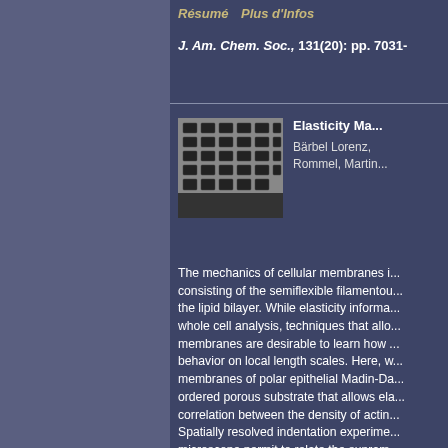Résumé   Plus d'Infos
J. Am. Chem. Soc., 131(20): pp. 7031-
[Figure (photo): Scanning electron microscope image of an ordered porous substrate with rectangular pores arranged in a grid pattern, shown in grayscale]
Elasticity Ma...
Bärbel Lorenz, ... Rommel, Martin...
The mechanics of cellular membranes i... consisting of the semiflexible filamentou... the lipid bilayer. While elasticity informa... whole cell analysis, techniques that allo... membranes are desirable to learn how ... behavior on local length scales. Here, w... membranes of polar epithelial Madin-Da... ordered porous substrate that allows ela... correlation between the density of actin... Spatially resolved indentation experime... microscope permit to relate the supram... is shown that the elastic response of the... bending modulus rather than the lat...